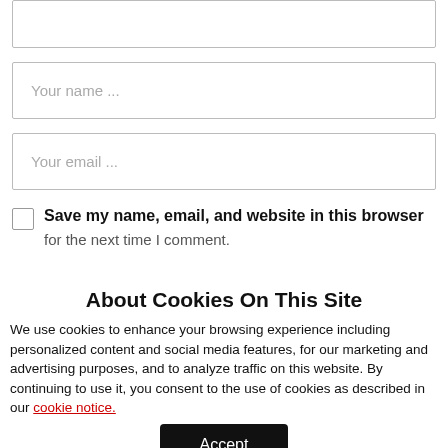[Figure (screenshot): Partial form input box at top, cut off at top edge]
Your name ...
Your email ...
Save my name, email, and website in this browser for the next time I comment.
About Cookies On This Site
We use cookies to enhance your browsing experience including personalized content and social media features, for our marketing and advertising purposes, and to analyze traffic on this website. By continuing to use it, you consent to the use of cookies as described in our cookie notice.
Accept